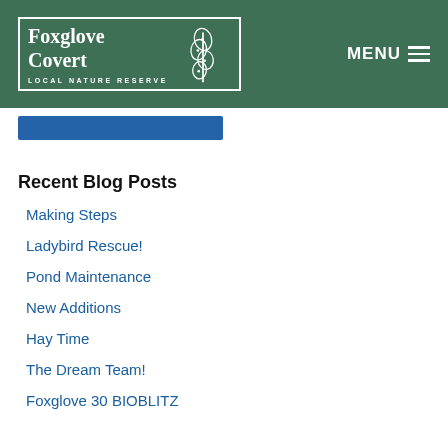Foxglove Covert LOCAL NATURE RESERVE | MENU
Recent Blog Posts
Making Steps
Ladybird Rescue!
Pond Maintenance
New Additions
Hay Time
The Dream Team!
Foxglove 30 BIOBLITZ